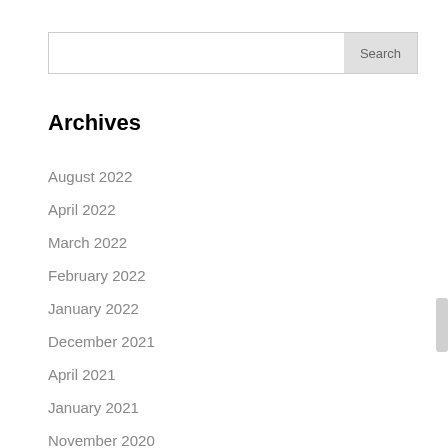Search
Archives
August 2022
April 2022
March 2022
February 2022
January 2022
December 2021
April 2021
January 2021
November 2020
October 2020
September 2020